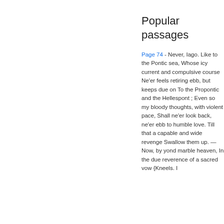Popular passages
Page 74 - Never, Iago. Like to the Pontic sea, Whose icy current and compulsive course Ne'er feels retiring ebb, but keeps due on To the Propontic and the Hellespont ; Even so my bloody thoughts, with violent pace, Shall ne'er look back, ne'er ebb to humble love. Till that a capable and wide revenge Swallow them up. — Now, by yond marble heaven, In the due reverence of a sacred vow {Kneels. I